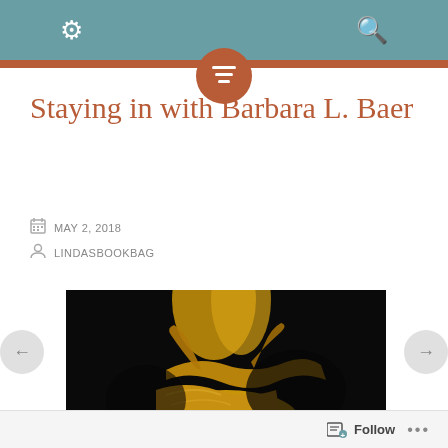⚙ 🔍
Staying in with Barbara L. Baer
MAY 2, 2018
LINDASBOOKBAG
[Figure (photo): Close-up photo of golden ballet pointe shoes against a black background]
Follow ...